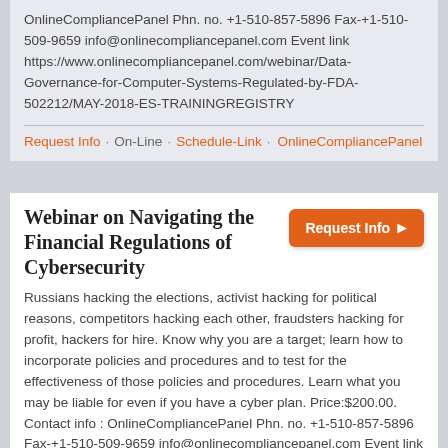OnlineCompliancePanel Phn. no. +1-510-857-5896 Fax-+1-510-509-9659 info@onlinecompliancepanel.com Event link https://www.onlinecompliancepanel.com/webinar/Data-Governance-for-Computer-Systems-Regulated-by-FDA-502212/MAY-2018-ES-TRAININGREGISTRY
Request Info · On-Line · Schedule-Link · OnlineCompliancePanel
Webinar on Navigating the Financial Regulations of Cybersecurity
Russians hacking the elections, activist hacking for political reasons, competitors hacking each other, fraudsters hacking for profit, hackers for hire. Know why you are a target; learn how to incorporate policies and procedures and to test for the effectiveness of those policies and procedures. Learn what you may be liable for even if you have a cyber plan. Price:$200.00. Contact info : OnlineCompliancePanel Phn. no. +1-510-857-5896 Fax-+1-510-509-9659 info@onlinecompliancepanel.com Event link https://www.onlinecompliancepanel.com/webinar/Navigating-the-Financial-Regulations-of-Cybersecurity-502831/MARCH-2018-ES-TRAININGREGISTRY